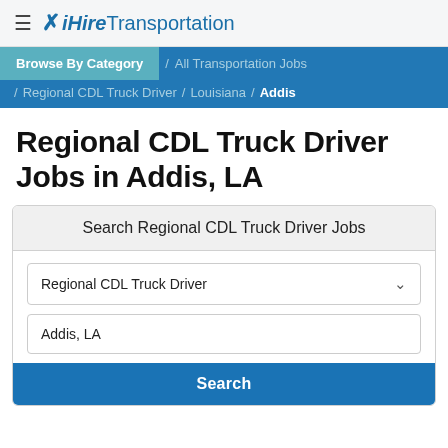≡ ✕ iHire Transportation
Browse By Category / All Transportation Jobs / Regional CDL Truck Driver / Louisiana / Addis
Regional CDL Truck Driver Jobs in Addis, LA
Search Regional CDL Truck Driver Jobs
Regional CDL Truck Driver
Addis, LA
Search